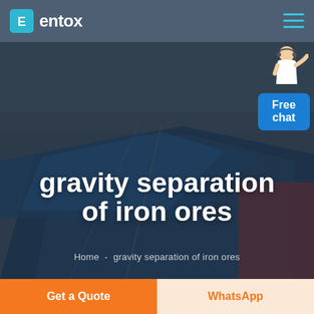entox
[Figure (photo): Aerial view of an industrial facility with large blue-roofed warehouses/factory buildings, used as hero background image for gravity separation of iron ores webpage]
gravity separation of iron ores
Home  -  gravity separation of iron ores
Free chat
Get a Quote
WhatsApp